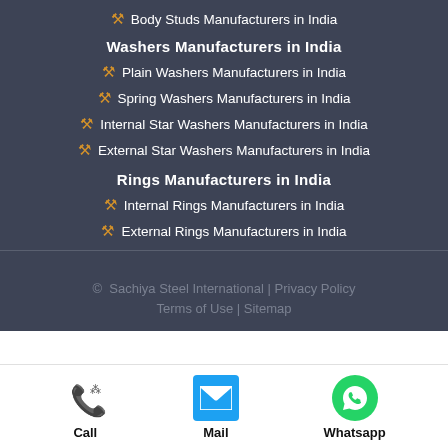Body Studs Manufacturers in India
Washers Manufacturers in India
Plain Washers Manufacturers in India
Spring Washers Manufacturers in India
Internal Star Washers Manufacturers in India
External Star Washers Manufacturers in India
Rings Manufacturers in India
Internal Rings Manufacturers in India
External Rings Manufacturers in India
© Sachiya Steel International | Privacy Policy
Terms of Use | Sitemap
Call | Mail | Whatsapp